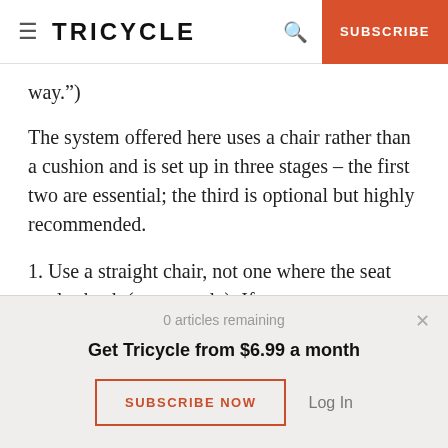TRICYCLE | SUBSCRIBE
way.")
The system offered here uses a chair rather than a cushion and is set up in three stages – the first two are essential; the third is optional but highly recommended.
1. Use a straight chair, not one where the seat angles back (as many do). If you can, get a couple of
0 articles remaining
Get Tricycle from $6.99 a month
SUBSCRIBE NOW   Log In